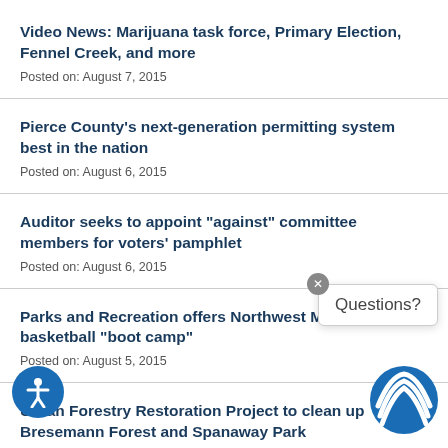Video News: Marijuana task force, Primary Election, Fennel Creek, and more
Posted on: August 7, 2015
Pierce County’s next-generation permitting system best in the nation
Posted on: August 6, 2015
Auditor seeks to appoint “against” committee members for voters’ pamphlet
Posted on: August 6, 2015
Parks and Recreation offers Northwest Magic basketball “boot camp”
Posted on: August 5, 2015
Urban Forestry Restoration Project to clean up Bresemann Forest and Spanaway Park
Posted on: August 4, 2015